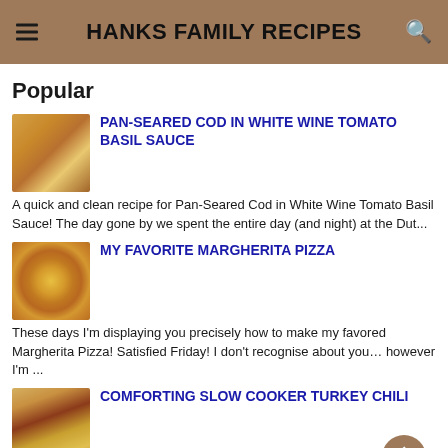HANKS FAMILY RECIPES
Popular
[Figure (photo): Pan-seared cod dish in tomato sauce]
PAN-SEARED COD IN WHITE WINE TOMATO BASIL SAUCE
A quick and clean recipe for Pan-Seared Cod in White Wine Tomato Basil Sauce! The day gone by we spent the entire day (and night) at the Dut...
[Figure (photo): Margherita pizza with basil and tomatoes]
MY FAVORITE MARGHERITA PIZZA
These days I'm displaying you precisely how to make my favored Margherita Pizza! Satisfied Friday! I don't recognise about you… however I'm ...
[Figure (photo): Slow cooker turkey chili in a bowl]
COMFORTING SLOW COOKER TURKEY CHILI
Hearty and comforting gradual cooker turkey chili!